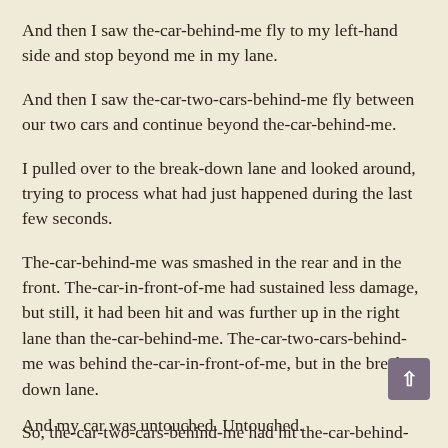And then I saw the-car-behind-me fly to my left-hand side and stop beyond me in my lane.
And then I saw the-car-two-cars-behind-me fly between our two cars and continue beyond the-car-behind-me.
I pulled over to the break-down lane and looked around, trying to process what had just happened during the last few seconds.
The-car-behind-me was smashed in the rear and in the front. The-car-in-front-of-me had sustained less damage, but still, it had been hit and was further up in the right lane than the-car-behind-me. The-car-two-cars-behind-me was behind the-car-in-front-of-me, but in the break-down lane.
So, the-car-two-cars-behind-me had hit the-car-behind-me AND the-car-in-front-of-me.
And my car was untouched. Untouched.